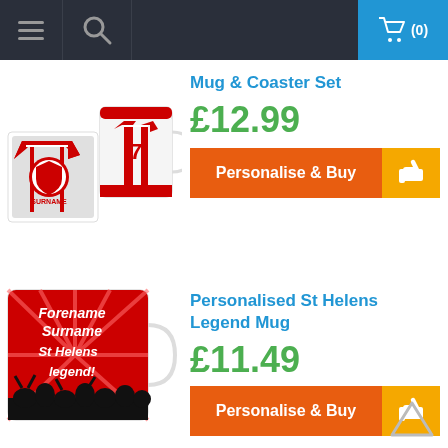Navigation bar with menu, search, and cart (0)
[Figure (photo): St Helens Mug & Coaster Set product image showing a white mug with number 7 jersey design and a coaster with St Helens badge and SURNAME text]
Mug & Coaster Set
£12.99
Personalise & Buy
[Figure (photo): Personalised St Helens Legend Mug with red background showing text: Forename Surname St Helens legend! with crowd silhouette]
Personalised St Helens Legend Mug
£11.49
Personalise & Buy